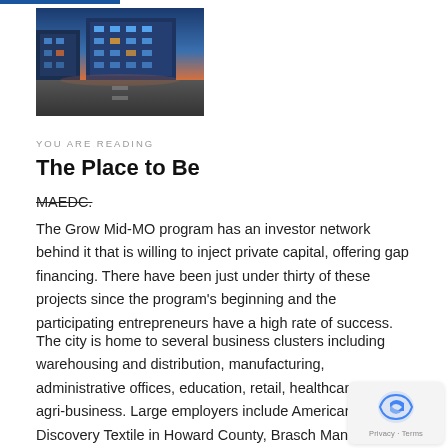[Figure (photo): Exterior photo of a modern building or shopping center at dusk with colorful lighting]
YOU ARE READING
The Place to Be
MAEDC.
The Grow Mid-MO program has an investor network behind it that is willing to inject private capital, offering gap financing. There have been just under thirty of these projects since the program's beginning and the participating entrepreneurs have a high rate of success.
The city is home to several business clusters including warehousing and distribution, manufacturing, administrative offices, education, retail, healthcare and agri-business. Large employers include American Discovery Textile in Howard County, Brasch Manufacturing in Monroe County and Cardinal Healthcare Corporation in Randolph County.